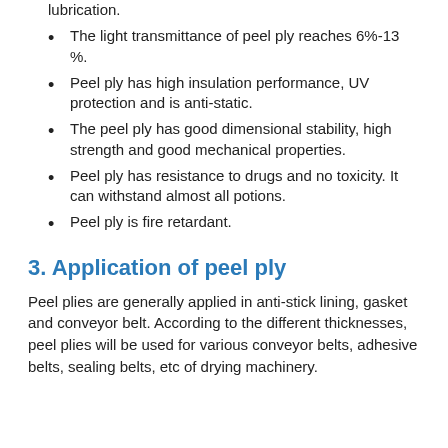lubrication.
The light transmittance of peel ply reaches 6%-13%.
Peel ply has high insulation performance, UV protection and is anti-static.
The peel ply has good dimensional stability, high strength and good mechanical properties.
Peel ply has resistance to drugs and no toxicity. It can withstand almost all potions.
Peel ply is fire retardant.
3. Application of peel ply
Peel plies are generally applied in anti-stick lining, gasket and conveyor belt. According to the different thicknesses, peel plies will be used for various conveyor belts, adhesive belts, sealing belts, etc of drying machinery.